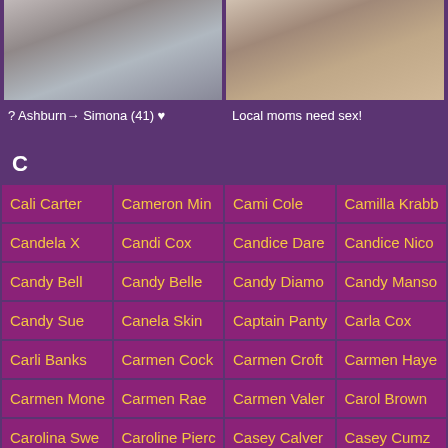[Figure (photo): Two photos side by side at top of page]
? Ashburn→ Simona (41) ♥
Local moms need sex!
C
| Cali Carter | Cameron Min | Cami Cole | Camilla Krabb |
| Candela X | Candi Cox | Candice Dare | Candice Nico |
| Candy Bell | Candy Belle | Candy Diamo | Candy Manso |
| Candy Sue | Canela Skin | Captain Panty | Carla Cox |
| Carli Banks | Carmen Cock | Carmen Croft | Carmen Haye |
| Carmen Mone | Carmen Rae | Carmen Valer | Carol Brown |
| Carolina Swe | Caroline Pierc | Casey Calver | Casey Cumz |
| Casey Kisses | Cassandra Ni | Cassidy Bank | Cassidy Klein |